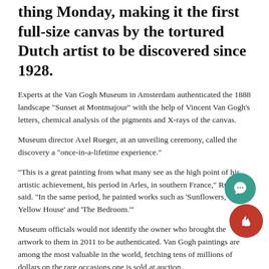thing Monday, making it the first full-size canvas by the tortured Dutch artist to be discovered since 1928.
Experts at the Van Gogh Museum in Amsterdam authenticated the 1888 landscape "Sunset at Montmajour" with the help of Vincent Van Gogh's letters, chemical analysis of the pigments and X-rays of the canvas.
Museum director Axel Rueger, at an unveiling ceremony, called the discovery a "once-in-a-lifetime experience."
"This is a great painting from what many see as the high point of his artistic achievement, his period in Arles, in southern France," Rueger said. "In the same period, he painted works such as 'Sunflowers,' 'The Yellow House' and 'The Bedroom.'"
Museum officials would not identify the owner who brought the artwork to them in 2011 to be authenticated. Van Gogh paintings are among the most valuable in the world, fetching tens of millions of dollars on the rare occasions one is sold at auction.
The artwork will be on display at the museum beginning Sept. 24.
The roughly 37-by-29-inch "Sunset at Montmajour" depicts a dry landscape of twisting oak trees, bushes and sky, and was done during the period when Van Gogh was increasingly adopting the thick "impasto" brush strokes that became typical of his work in the final years of his short life.